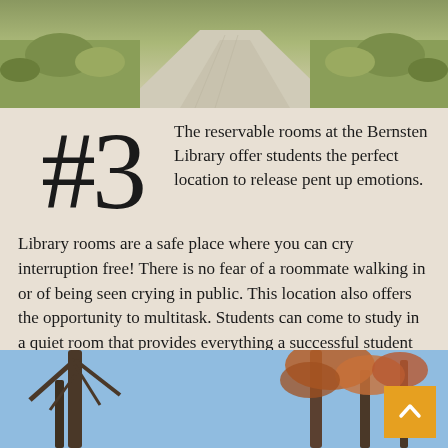[Figure (photo): Aerial view of a campus pathway with ornamental grasses and plantings on either side, concrete walkway]
#3  The reservable rooms at the Bernsten Library offer students the perfect location to release pent up emotions. Library rooms are a safe place where you can cry interruption free! There is no fear of a roommate walking in or of being seen crying in public. This location also offers the opportunity to multitask. Students can come to study in a quiet room that provides everything a successful student needs, and while studying, their tears can fall unceasingly.
[Figure (photo): Tree branches against a blue sky, autumn trees with some orange-brown foliage visible]